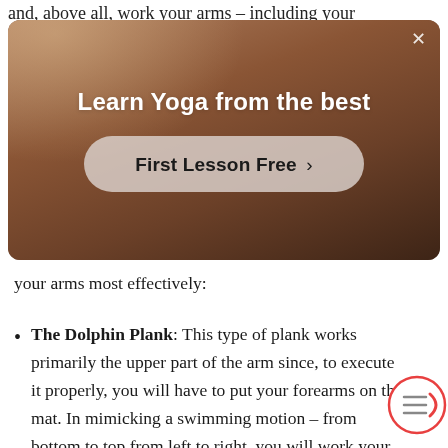and, above all, work your arms – including your
[Figure (screenshot): Advertisement banner with yoga instructor background. Title: 'Learn Yoga from the best'. Button: 'First Lesson Free ›'. Close button (×) in top right corner.]
your arms most effectively:
The Dolphin Plank: This type of plank works primarily the upper part of the arm since, to execute it properly, you will have to put your forearms on the mat. In mimicking a swimming motion – from bottom to top from left to right, you will work your abs muscles as well as your arms.